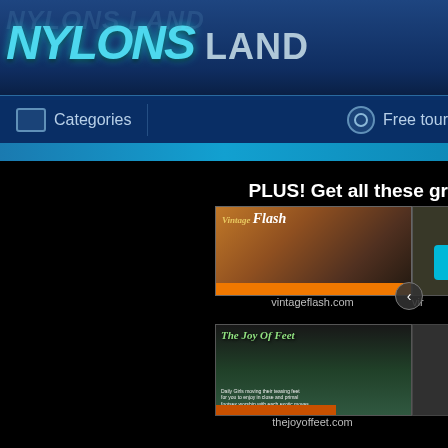[Figure (screenshot): NylonsLand website header with logo showing 'NYLONS' in teal italic and 'LAND' in gray, navigation bar with Categories and Free tour links]
PLUS! Get all these gr
[Figure (screenshot): vintageflash.com thumbnail showing website preview]
vintageflash.com
[Figure (screenshot): Partially visible vintage site thumbnail cut off on right]
vir
[Figure (screenshot): thejoyoffeet.com thumbnail showing website preview]
thejoyoffeet.com